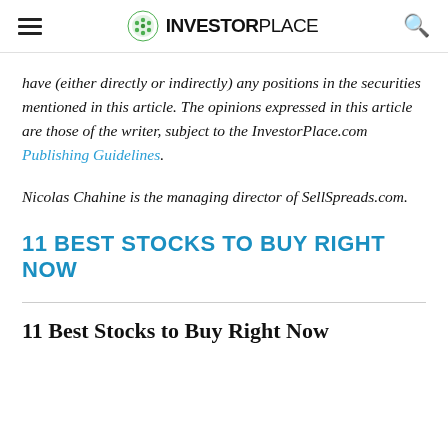INVESTORPLACE
have (either directly or indirectly) any positions in the securities mentioned in this article. The opinions expressed in this article are those of the writer, subject to the InvestorPlace.com Publishing Guidelines.
Nicolas Chahine is the managing director of SellSpreads.com.
11 BEST STOCKS TO BUY RIGHT NOW
11 Best Stocks to Buy Right Now